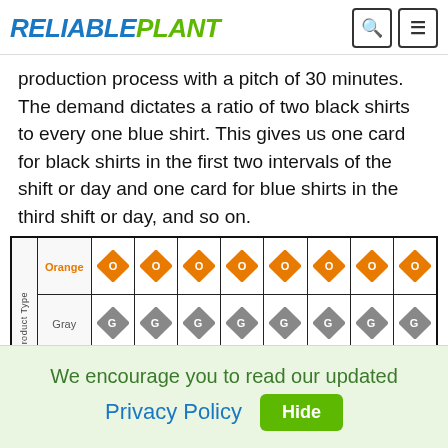RELIABLE PLANT
production process with a pitch of 30 minutes. The demand dictates a ratio of two black shirts to every one blue shirt. This gives us one card for black shirts in the first two intervals of the shift or day and one card for blue shirts in the third shift or day, and so on.
[Figure (other): Heijunka board table showing product type scheduling by kanban cards. Rows: Orange (8 orange diamond cards), Gray (8 gray diamond cards with G), Red (4 red diamond cards at intervals), plus a bottom row with arrow symbols. Product Type label on left side.]
We encourage you to read our updated Privacy Policy  Hide